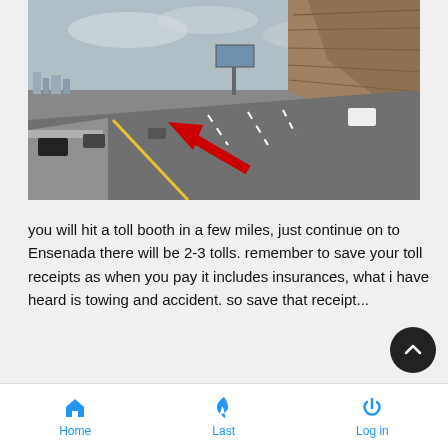[Figure (photo): Highway road photo showing lanes with a red arrow pointing left toward the median/barrier, rocky hillside on the right, billboard in background, cars on the road, overcast sky.]
you will hit a toll booth in a few miles, just continue on to Ensenada there will be 2-3 tolls. remember to save your toll receipts as when you pay it includes insurances, what i have heard is towing and accident. so save that receipt...
Home  Last  Log in